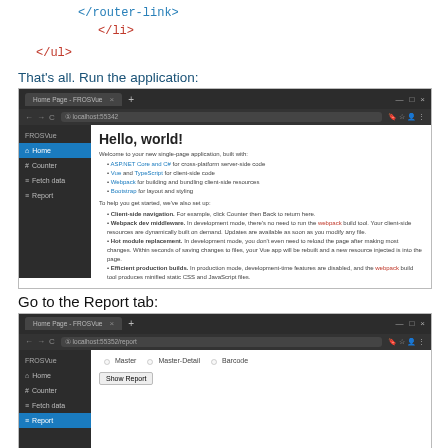</router-link>
</li>
</ul>
That's all. Run the application:
[Figure (screenshot): Browser screenshot showing FROSVue application home page with Hello, world! content]
Go to the Report tab:
[Figure (screenshot): Browser screenshot showing FROSVue application Report tab with Master, Master-Detail, Barcode radio buttons and Show Report button]
Now select one of the three reports and click the Show Report button: